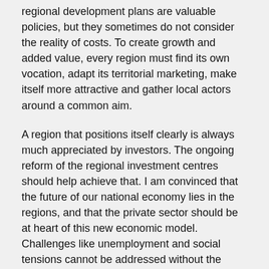regional development plans are valuable policies, but they sometimes do not consider the reality of costs. To create growth and added value, every region must find its own vocation, adapt its territorial marketing, make itself more attractive and gather local actors around a common aim.
A region that positions itself clearly is always much appreciated by investors. The ongoing reform of the regional investment centres should help achieve that. I am convinced that the future of our national economy lies in the regions, and that the private sector should be at heart of this new economic model. Challenges like unemployment and social tensions cannot be addressed without the involvement of the private sector.
I cannot imagine a country pretending to be in line with global economic evolution without taking part in the digital economy, but Morocco is lagging behind. The private sector is responsible for showing the authorities and the public at large which segments we can move forward and how to do so. The new Agency for Digital Development is encouraging, but it is not yet